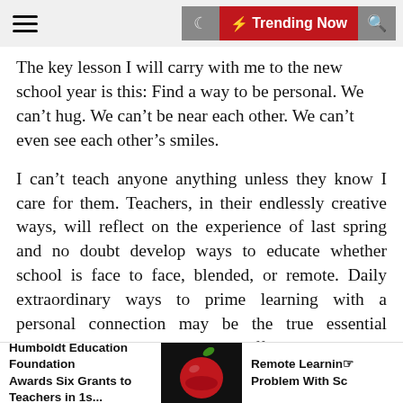≡  🌙  ⚡ Trending Now  🔍
The key lesson I will carry with me to the new school year is this: Find a way to be personal. We can't hug. We can't be near each other. We can't even see each other's smiles.
I can't teach anyone anything unless they know I care for them. Teachers, in their endlessly creative ways, will reflect on the experience of last spring and no doubt develop ways to educate whether school is face to face, blended, or remote. Daily extraordinary ways to prime learning with a personal connection may be the true essential standard that makes the difference between engaging or not at all.
Making personal connections with students is nothing new. Hattie's effect-size research and simple gut intuition underline the necessity of building relationships to student engagement and thus, learning.
Humboldt Education Foundation Awards Six Grants to Teachers in 1s...    Remote Learning Problem With Sc
[Figure (photo): Red apple with green leaf on black background]